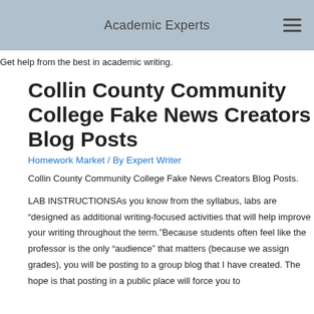Academic Experts
Get help from the best in academic writing.
Collin County Community College Fake News Creators Blog Posts
Homework Market / By Expert Writer
Collin County Community College Fake News Creators Blog Posts.
LAB INSTRUCTIONSAs you know from the syllabus, labs are “designed as additional writing-focused activities that will help improve your writing throughout the term.”Because students often feel like the professor is the only “audience” that matters (because we assign grades), you will be posting to a group blog that I have created. The hope is that posting in a public place will force you to